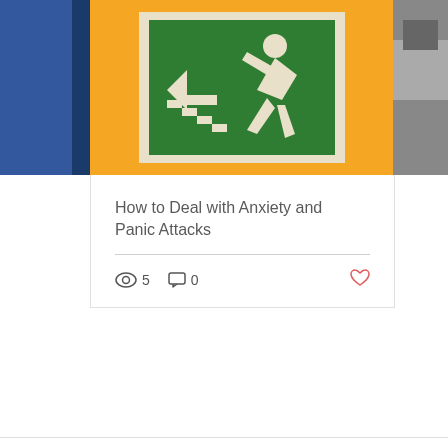[Figure (photo): Emergency exit sign with running person on green background with orange border, flanked by partial images on left (blue tones) and right (black and white photo)]
How to Deal with Anxiety and Panic Attacks
5 views, 0 comments, heart/like icon
We use cookies and similar technologies to enable services and functionality on our site and to understand your interaction with our service. By clicking on accept, you agree to our use of such technologies for marketing and analytics, if you do not, please press decline all See Privacy Policy
Decline All
Accept
Cookie Settings